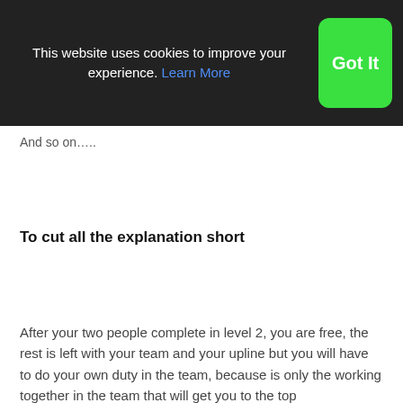This website uses cookies to improve your experience. Learn More Got It
And so on…..
To cut all the explanation short
After your two people complete in level 2, you are free, the rest is left with your team and your upline but you will have to do your own duty in the team, because is only the working together in the team that will get you to the top